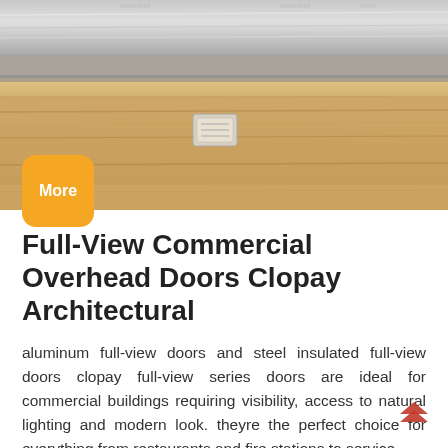[Figure (photo): Close-up photo of a commercial overhead door showing aluminum and wood-grain panel surfaces with a metal hinge/bracket detail in the center, viewed from a low angle with industrial ceiling visible at top.]
Full-View Commercial Overhead Doors Clopay Architectural
aluminum full-view doors and steel insulated full-view doors clopay full-view series doors are ideal for commercial buildings requiring visibility, access to natural lighting and modern look. theyre the perfect choice for everything from restaurants and fire stations to service...